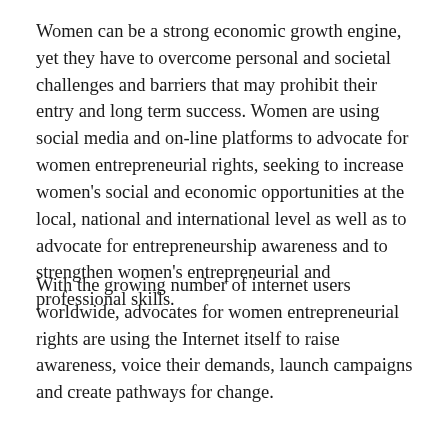Women can be a strong economic growth engine, yet they have to overcome personal and societal challenges and barriers that may prohibit their entry and long term success. Women are using social media and on-line platforms to advocate for women entrepreneurial rights, seeking to increase women's social and economic opportunities at the local, national and international level as well as to advocate for entrepreneurship awareness and to strengthen women's entrepreneurial and professional skills.
With the growing number of internet users worldwide, advocates for women entrepreneurial rights are using the Internet itself to raise awareness, voice their demands, launch campaigns and create pathways for change.